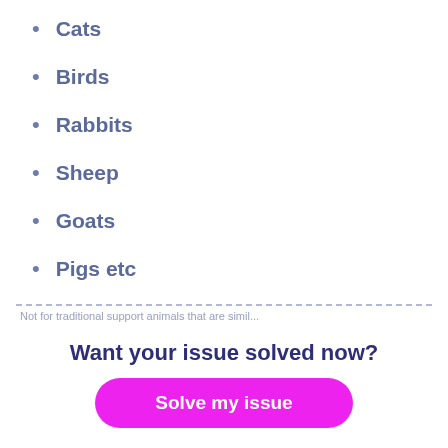Cats
Birds
Rabbits
Sheep
Goats
Pigs etc
Not for traditional support animals that are simil...
Want your issue solved now?
Solve my issue